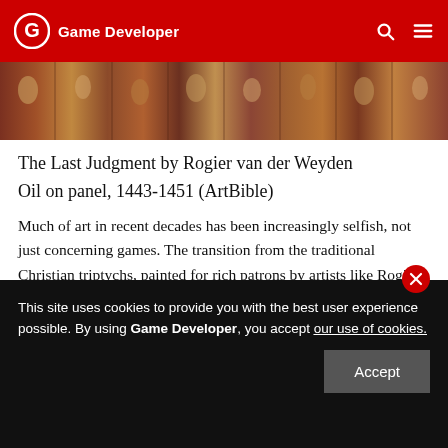Game Developer
[Figure (photo): Horizontal strip of The Last Judgment painting by Rogier van der Weyden showing medieval religious figures]
The Last Judgment by Rogier van der Weyden
Oil on panel, 1443-1451 (ArtBible)
Much of art in recent decades has been increasingly selfish, not just concerning games. The transition from the traditional Christian triptychs, painted for rich patrons by artists like Rogier van der Weyden, to the modern image of the independent, free-
This site uses cookies to provide you with the best user experience possible. By using Game Developer, you accept our use of cookies.